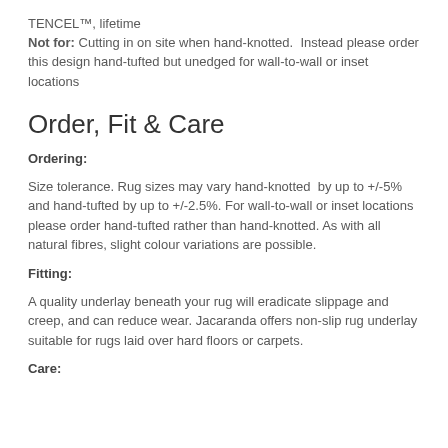TENCEL™, lifetime
Not for: Cutting in on site when hand-knotted.  Instead please order this design hand-tufted but unedged for wall-to-wall or inset locations
Order, Fit & Care
Ordering:
Size tolerance. Rug sizes may vary hand-knotted  by up to +/-5% and hand-tufted by up to +/-2.5%. For wall-to-wall or inset locations please order hand-tufted rather than hand-knotted. As with all natural fibres, slight colour variations are possible.
Fitting:
A quality underlay beneath your rug will eradicate slippage and creep, and can reduce wear. Jacaranda offers non-slip rug underlay suitable for rugs laid over hard floors or carpets.
Care: